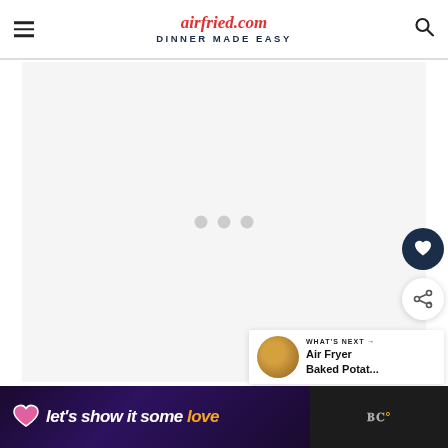airfried.com DINNER MADE EASY
[Figure (screenshot): Main content area with loading indicator (three grey dots) on a light grey background]
[Figure (infographic): Heart icon button (dark navy circle) and share icon button (white circle with share symbol)]
[Figure (infographic): What's Next widget showing Air Fryer Baked Potat... with thumbnail image]
[Figure (infographic): Ad banner with dark purple background: let's show it some love, with logo on the right]